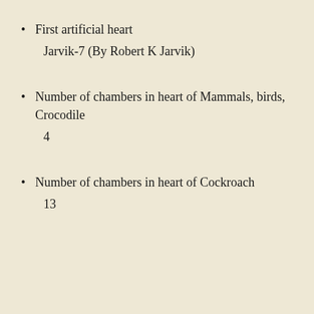First artificial heart
Jarvik-7 (By Robert K Jarvik)
Number of chambers in heart of Mammals, birds, Crocodile
4
Number of chambers in heart of Cockroach
13